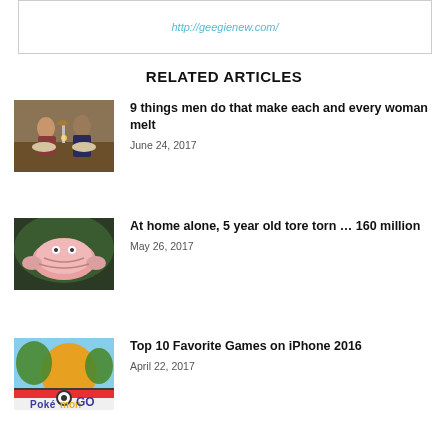http://geegienew.com/
RELATED ARTICLES
[Figure (photo): A man and woman at a dinner table, romantic scene]
9 things men do that make each and every woman melt
June 24, 2017
[Figure (photo): Close-up of pink crabs or seafood]
At home alone, 5 year old tore torn … 160 million
May 26, 2017
[Figure (photo): Pokemon GO logo with Charizard illustration]
Top 10 Favorite Games on iPhone 2016
April 22, 2017